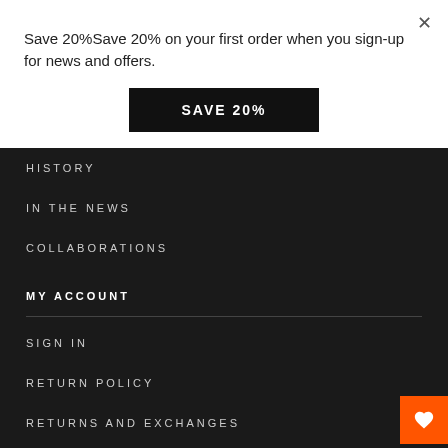Save 20%Save 20% on your first order when you sign-up for news and offers.
SAVE 20%
HISTORY
IN THE NEWS
COLLABORATIONS
MY ACCOUNT
SIGN IN
RETURN POLICY
RETURNS AND EXCHANGES
SHOP WITH KLARNA